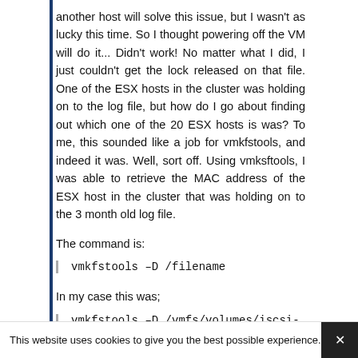another host will solve this issue, but I wasn't as lucky this time. So I thought powering off the VM will do it... Didn't work! No matter what I did, I just couldn't get the lock released on that file. One of the ESX hosts in the cluster was holding on to the log file, but how do I go about finding out which one of the 20 ESX hosts is was? To me, this sounded like a job for vmkfstools, and indeed it was. Well, sort off. Using vmksftools, I was able to retrieve the MAC address of the ESX host in the cluster that was holding on to the 3 month old log file.
The command is:
vmkfstools –D /filename
In my case this was;
vmkfstools –D /vmfs/volumes/iscsi-002-vmfs/WKSTN01/vmware.log
This website uses cookies to give you the best possible experience.